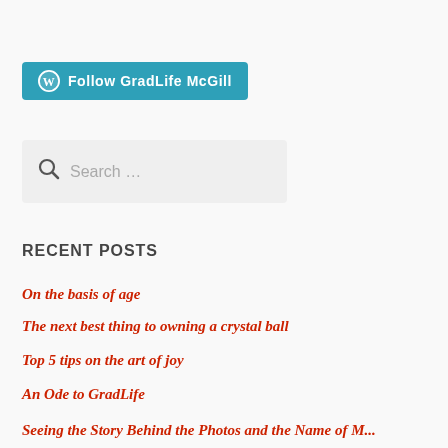[Figure (other): Follow GradLife McGill WordPress follow button with WordPress logo icon on teal/cyan background]
[Figure (other): Search box with magnifying glass icon and placeholder text 'Search ...' on light grey background]
RECENT POSTS
On the basis of age
The next best thing to owning a crystal ball
Top 5 tips on the art of joy
An Ode to GradLife
Seeing the Story Behind the Photos and the Name of M...